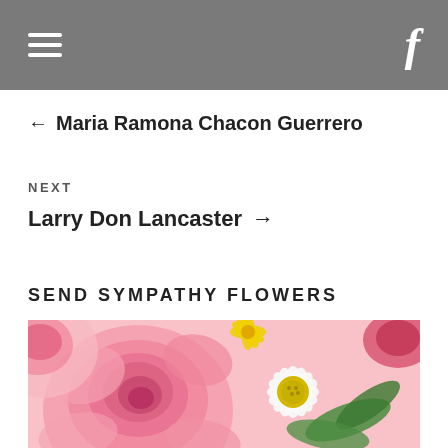← Maria Ramona Chacon Guerrero
NEXT
Larry Don Lancaster →
SEND SYMPATHY FLOWERS
[Figure (photo): Photo of pink roses and a white daisy flower arrangement for sympathy]